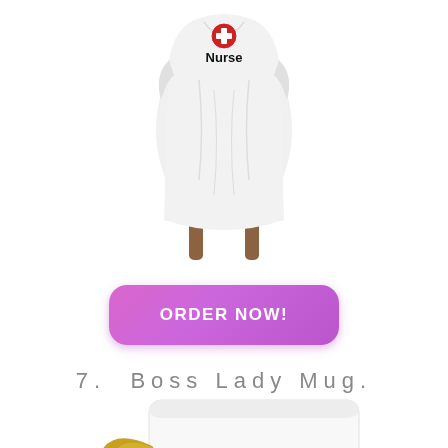[Figure (photo): White nurse tank top with red cross and 'Nurse' text, displayed on a small wooden stand]
[Figure (other): Pink/purple rounded rectangle button with text 'ORDER NOW!']
7.  Boss Lady Mug.
[Figure (photo): White coffee mug with gold heart-shaped handle and 'boss' written in gold script lettering]